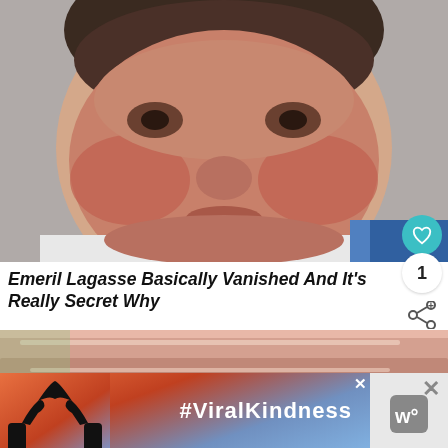[Figure (photo): Close-up photo of Emeril Lagasse's face, a middle-aged man with dark hair, reddish complexion, wearing a white shirt with a colorful collar visible at bottom right.]
Emeril Lagasse Basically Vanished And It's Really Secret Why
[Figure (photo): Close-up photo of sliced deli meat (ham or bacon), with a thumbnail image showing a food dish in a circular frame, labeled 'WHAT'S NEXT — Monday Munchies:...']
[Figure (photo): Advertisement banner showing hands forming a heart shape silhouette against a sunset/sky background, with text '#ViralKindness' and a close button X. Right side shows a weather app icon with X close button and 'w°' text.]